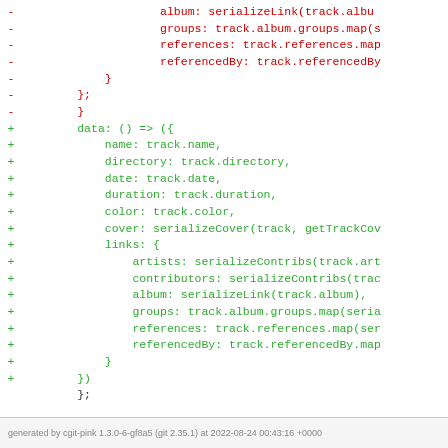[Figure (screenshot): Git diff code view showing removed lines (red, prefixed with -) and added lines (green, prefixed with +) of JavaScript/TypeScript source code.]
generated by cgit-pink 1.3.0-6-gf8a5 (git 2.35.1) at 2022-08-24 00:43:16 +0000